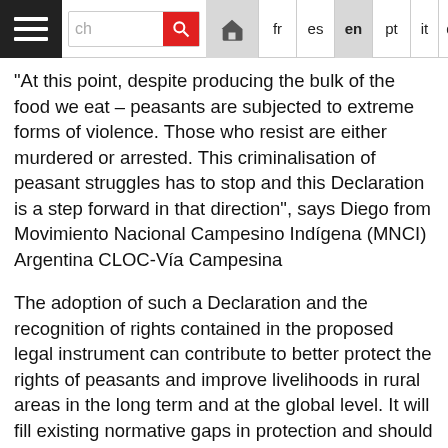Navigation bar with hamburger menu, search box, home button, and language selector: fr, es, en (active), pt, it, de, Arabic
“At this point, despite producing the bulk of the food we eat – peasants are subjected to extreme forms of violence. Those who resist are either murdered or arrested. This criminalisation of peasant struggles has to stop and this Declaration is a step forward in that direction”, says Diego from Movimiento Nacional Campesino Indígena (MNCI) Argentina CLOC-Vía Campesina
The adoption of such a Declaration and the recognition of rights contained in the proposed legal instrument can contribute to better protect the rights of peasants and improve livelihoods in rural areas in the long term and at the global level. It will fill existing normative gaps in protection and should also be forward-looking to deal with emerging gaps and thus end discriminatory practices by giving them more visibility and coherence.
Contacts: